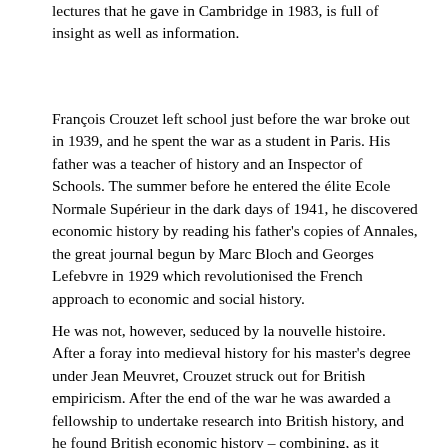lectures that he gave in Cambridge in 1983, is full of insight as well as information.
François Crouzet left school just before the war broke out in 1939, and he spent the war as a student in Paris. His father was a teacher of history and an Inspector of Schools. The summer before he entered the élite Ecole Normale Supérieur in the dark days of 1941, he discovered economic history by reading his father's copies of Annales, the great journal begun by Marc Bloch and Georges Lefebvre in 1929 which revolutionised the French approach to economic and social history.
He was not, however, seduced by la nouvelle histoire. After a foray into medieval history for his master's degree under Jean Meuvret, Crouzet struck out for British empiricism. After the end of the war he was awarded a fellowship to undertake research into British history, and he found British economic history – combining, as it